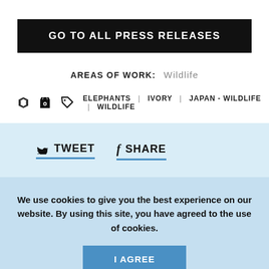GO TO ALL PRESS RELEASES
AREAS OF WORK:  Wildlife
ELEPHANTS  |  IVORY  |  JAPAN - WILDLIFE  |  WILDLIFE
TWEET    SHARE
We use cookies to give you the best experience on our website. By using this site, you have agreed to the use of cookies.
I AGREE